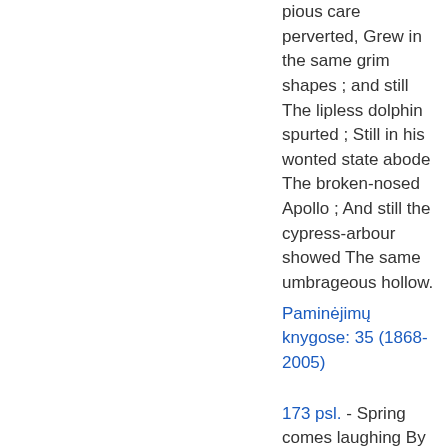pious care perverted, Grew in the same grim shapes ; and still The lipless dolphin spurted ; Still in his wonted state abode The broken-nosed Apollo ; And still the cypress-arbour showed The same umbrageous hollow.
Paminėjimų knygose: 35 (1868-2005)
173 psl. - Spring comes laughing By vale and hill, By wind-flower walking And daffodil, — Sing stars of morning, Sing morning skies, Sing blue of speedwell, And my Love's eyes. When comes the Summer, Full-leaved and Strong, And gay birds gossip The